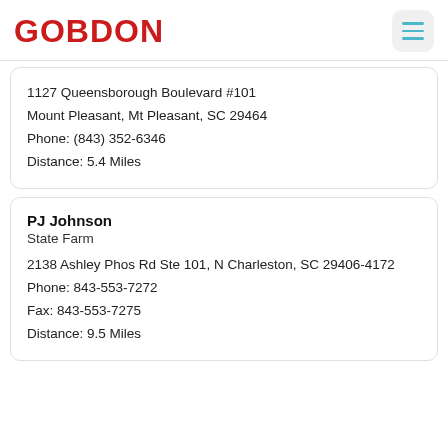GOBDON
1127 Queensborough Boulevard #101
Mount Pleasant, Mt Pleasant, SC 29464
Phone: (843) 352-6346
Distance: 5.4 Miles
PJ Johnson
State Farm
2138 Ashley Phos Rd Ste 101, N Charleston, SC 29406-4172
Phone: 843-553-7272
Fax: 843-553-7275
Distance: 9.5 Miles